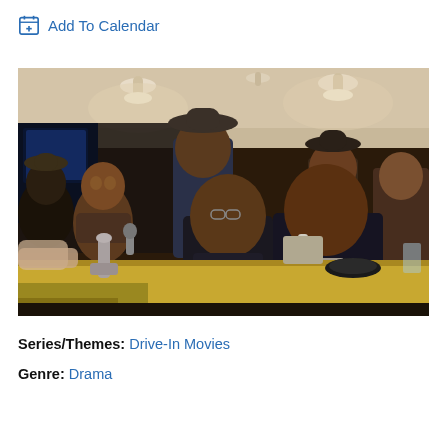Add To Calendar
[Figure (photo): Group of African American men in formal attire gathered at a diner counter, with one younger man in a tuxedo with bow tie and another man in a suit with glasses placed prominently at the counter. Multiple men visible in the background, some wearing fedora hats. Warm lighting from pendant lights above.]
Series/Themes: Drive-In Movies
Genre: Drama